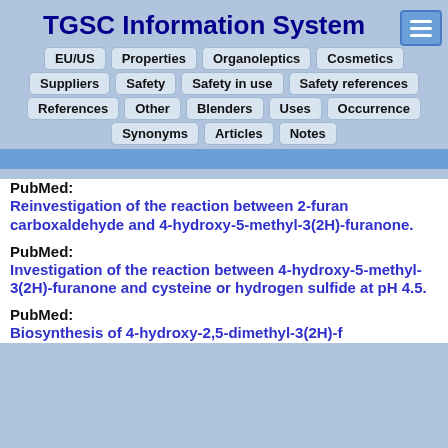TGSC Information System
EU/US  Properties  Organoleptics  Cosmetics
Suppliers  Safety  Safety in use  Safety references
References  Other  Blenders  Uses  Occurrence
Synonyms  Articles  Notes
PubMed:
Reinvestigation of the reaction between 2-furan carboxaldehyde and 4-hydroxy-5-methyl-3(2H)-furanone.
PubMed:
Investigation of the reaction between 4-hydroxy-5-methyl-3(2H)-furanone and cysteine or hydrogen sulfide at pH 4.5.
PubMed:
Biosynthesis of 4-hydroxy-2,5-dimethyl-3(2H)-f